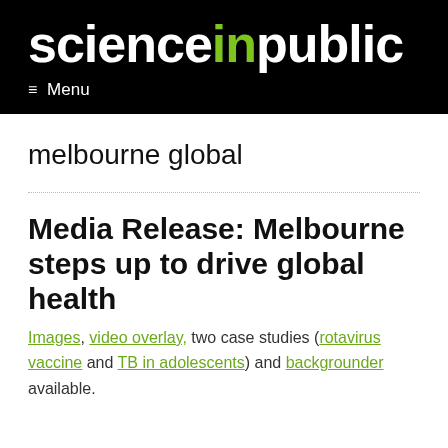[Figure (logo): Science in Public logo — white bold text on black background with green 'in' word]
≡ Menu
melbourne global
Media Release: Melbourne steps up to drive global health
Images, video overlay, two case studies (rotavirus vaccine and TB in adolescents) and backgrounder available.